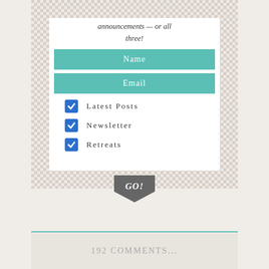announcements — or all three!
Name
Email
Latest Posts
Newsletter
Retreats
GO!
OLDER
NEWER
192 COMMENTS...